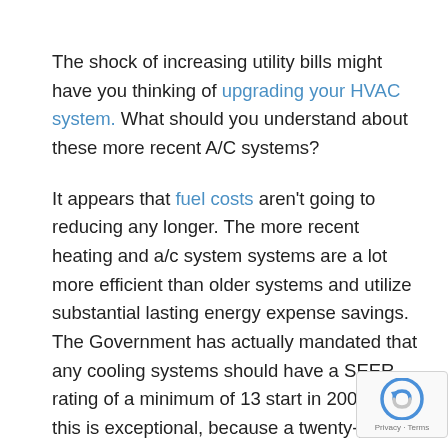The shock of increasing utility bills might have you thinking of upgrading your HVAC system. What should you understand about these more recent A/C systems?
It appears that fuel costs aren't going to reducing any longer. The more recent heating and a/c system systems are a lot more efficient than older systems and utilize substantial lasting energy expense savings. The Government has actually mandated that any cooling systems should have a SEER rating of a minimum of 13 start in 2006 and this is exceptional, because a twenty-year system might have a SEER rating of just 7 or 8. Nonetheless, for real savings, ought to take a look at your entire house as an energy